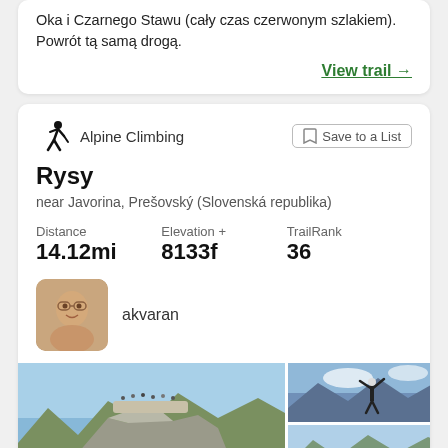Oka i Czarnego Stawu (cały czas czerwonym szlakiem). Powrót tą samą drogą.
View trail →
Alpine Climbing
Save to a List
Rysy
near Javorina, Prešovský (Slovenská republika)
Distance
14.12mi
Elevation +
8133f
TrailRank
36
akvaran
[Figure (photo): Mountain summit crowded with hikers, rocky peak with mountains in background]
[Figure (photo): Person with arms raised on mountain summit]
[Figure (photo): Mountain landscape partial view]